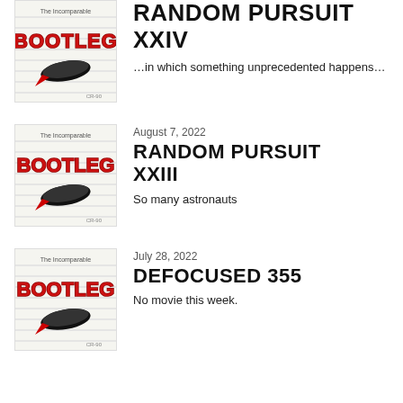[Figure (illustration): Bootleg cassette tape artwork thumbnail - The Incomparable Bootleg logo with red graffiti text and blimp]
RANDOM PURSUIT XXIV
…in which something unprecedented happens…
[Figure (illustration): Bootleg cassette tape artwork thumbnail - The Incomparable Bootleg logo with red graffiti text and blimp]
August 7, 2022
RANDOM PURSUIT XXIII
So many astronauts
[Figure (illustration): Bootleg cassette tape artwork thumbnail - The Incomparable Bootleg logo with red graffiti text and blimp]
July 28, 2022
DEFOCUSED 355
No movie this week.